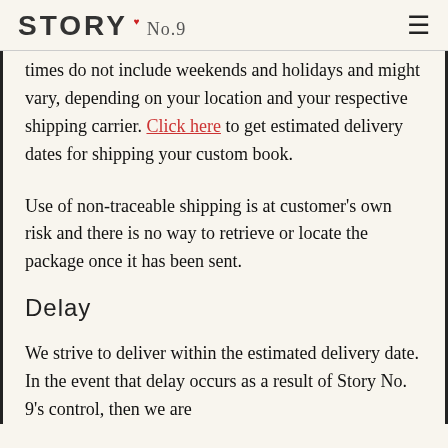STORY No.9
times do not include weekends and holidays and might vary, depending on your location and your respective shipping carrier. Click here to get estimated delivery dates for shipping your custom book.
Use of non-traceable shipping is at customer's own risk and there is no way to retrieve or locate the package once it has been sent.
Delay
We strive to deliver within the estimated delivery date. In the event that delay occurs as a result of Story No. 9's control, then we are